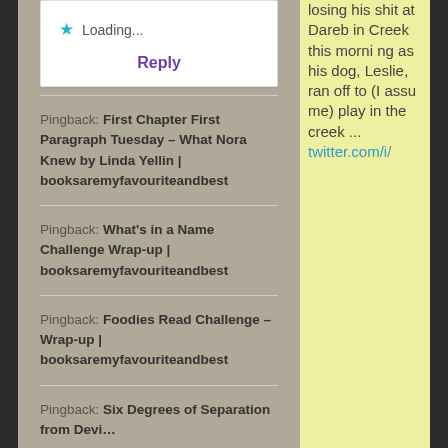Loading...
Reply
Pingback: First Chapter First Paragraph Tuesday – What Nora Knew by Linda Yellin | booksaremyfavouriteandbest
Pingback: What's in a Name Challenge Wrap-up | booksaremyfavouriteandbest
Pingback: Foodies Read Challenge – Wrap-up | booksaremyfavouriteandbest
Pingback: Six Degrees of Separation from Devi...
losing his shit at Dareb in Creek this morning as his dog, Leslie, ran off to (I assume) play in the creek ... twitter.com/i/